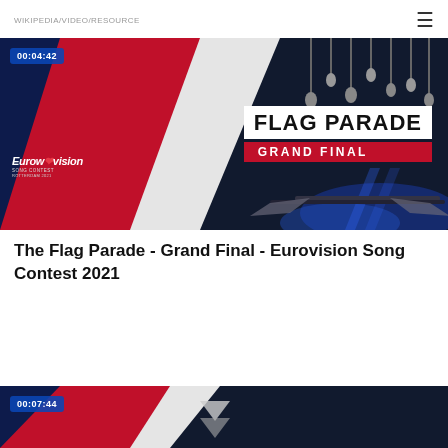WIKIPEDIA/VIDEO/RESOURCE (hamburger menu icon)
[Figure (screenshot): Eurovision Song Contest 2021 Flag Parade Grand Final video thumbnail. Shows Eurovision Rotterdam 2021 logo on left over red/white/blue diagonal background, with 'FLAG PARADE' in large bold white text on white banner and 'GRAND FINAL' in white text on red banner. Timestamp 00:04:42 shown in top-left corner. Dark stage with hanging lights visible on right side.]
The Flag Parade - Grand Final - Eurovision Song Contest 2021
[Figure (screenshot): Partial video thumbnail at bottom of page showing timestamp 00:07:44, dark blue and red Eurovision-themed background, partially cropped.]